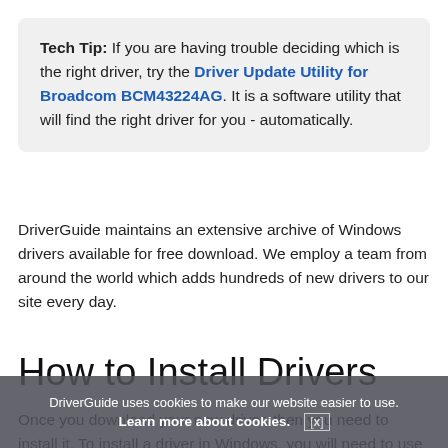Tech Tip: If you are having trouble deciding which is the right driver, try the Driver Update Utility for Broadcom BCM43224AG. It is a software utility that will find the right driver for you - automatically.
DriverGuide maintains an extensive archive of Windows drivers available for free download. We employ a team from around the world which adds hundreds of new drivers to our site every day.
How to Install Drivers
Once you download your new driver, then you need to install it. To install a driver in Windows, you will need to use a built-in utility called Device Manager. It allows you to see all of the devices recognized by your system, and the
DriverGuide uses cookies to make our website easier to use. Learn more about cookies. [x]